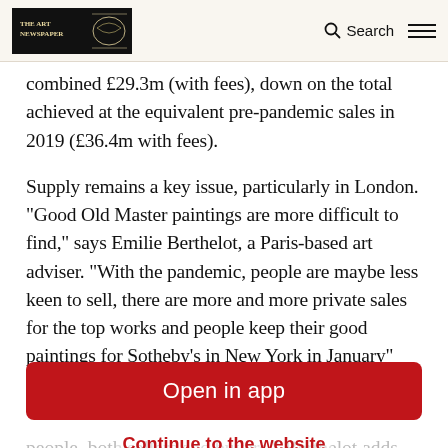The Art Newspaper — Search
combined £29.3m (with fees), down on the total achieved at the equivalent pre-pandemic sales in 2019 (£36.4m with fees).
Supply remains a key issue, particularly in London. “Good Old Master paintings are more difficult to find,” says Emilie Berthelot, a Paris-based art adviser. “With the pandemic, people are maybe less keen to sell, there are more and more private sales for the top works and people keep their good paintings for Sotheby’s in New York in January”
[Figure (screenshot): Red 'Open in app' button overlay]
people, both sellers and buyers,” Berthelot adds.
Rising Covid infections are threatening the Old
Continue to the website